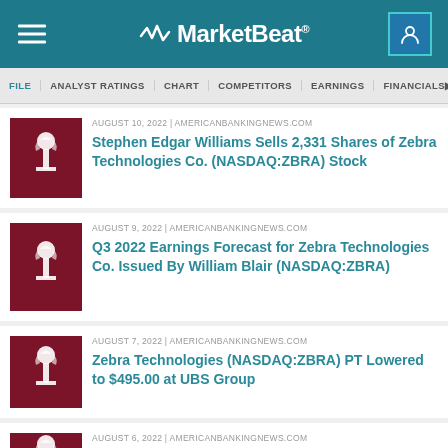MarketBeat
FILE | ANALYST RATINGS | CHART | COMPETITORS | EARNINGS | FINANCIALS
AUGUST 10, 2022 | AMERICANBANKINGNEWS.COM — Stephen Edgar Williams Sells 2,331 Shares of Zebra Technologies Co. (NASDAQ:ZBRA) Stock
AUGUST 9, 2022 | AMERICANBANKINGNEWS.COM — Q3 2022 Earnings Forecast for Zebra Technologies Co. Issued By William Blair (NASDAQ:ZBRA)
AUGUST 7, 2022 | AMERICANBANKINGNEWS.COM — Zebra Technologies (NASDAQ:ZBRA) PT Lowered to $495.00 at UBS Group
AUGUST 6, 2022 | AMERICANBANKINGNEWS.COM — Zebra Technologies (NASDAQ:ZBRA)